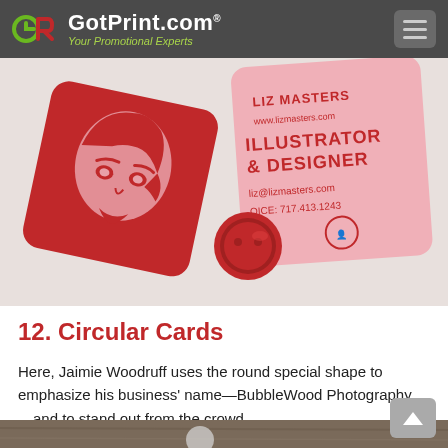GotPrint.com® Your Promotional Experts
[Figure (photo): Photo of two square rounded-corner business cards in red and pink. The red card features a stylized illustration of a woman's face. The pink card reads: LIZ MASTERS, www.lizmasters.com, ILLUSTRATOR & DESIGNER, liz@lizmasters.com, OICE: 717.413.1243, with a small icon. A red button sits between the cards.]
12. Circular Cards
Here, Jaimie Woodruff uses the round special shape to emphasize his business' name—BubbleWood Photography—and to stand out from the crowd.
[Figure (photo): Partial view of a circular business card for BubbleWood Photography on a wooden surface background.]